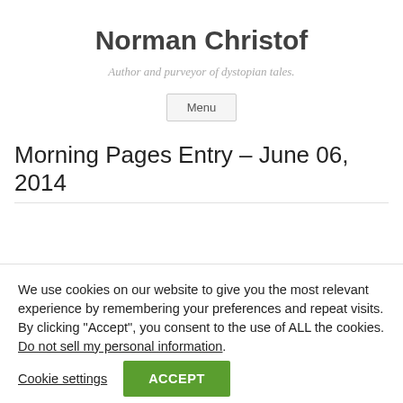Norman Christof
Author and purveyor of dystopian tales.
Menu
Morning Pages Entry – June 06, 2014
We use cookies on our website to give you the most relevant experience by remembering your preferences and repeat visits. By clicking “Accept”, you consent to the use of ALL the cookies.
Do not sell my personal information.
Cookie settings
ACCEPT